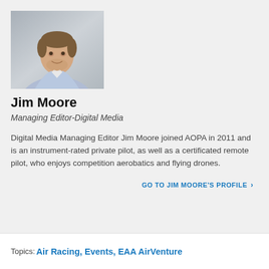[Figure (photo): Headshot photo of Jim Moore, a man with brown hair and beard wearing a light blue shirt, seated at a desk]
Jim Moore
Managing Editor-Digital Media
Digital Media Managing Editor Jim Moore joined AOPA in 2011 and is an instrument-rated private pilot, as well as a certificated remote pilot, who enjoys competition aerobatics and flying drones.
GO TO JIM MOORE'S PROFILE »
Topics: Air Racing, Events, EAA AirVenture